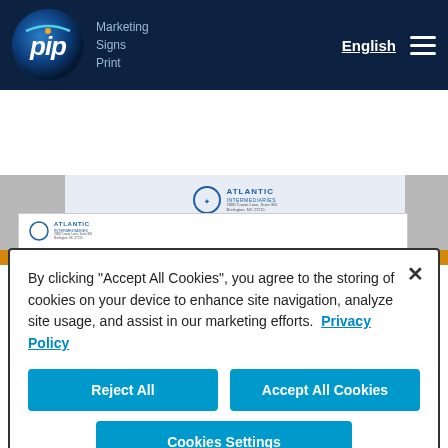pip Marketing Signs Print — English — [menu]
Germantown, TN
901-757-5500
Request a Quote | Send A File
[Figure (screenshot): Partially visible document/letterhead with Atlantic Intermediaries logo]
By clicking "Accept All Cookies", you agree to the storing of cookies on your device to enhance site navigation, analyze site usage, and assist in our marketing efforts. Privacy Policy
Reject All
Accept All Cookies
Cookies Settings